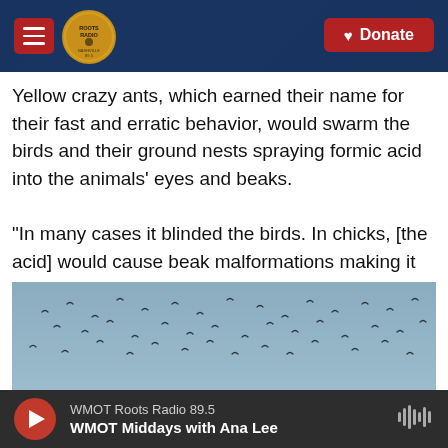[Figure (screenshot): Website header for Roots Radio with hamburger menu icon on left, circular Roots Radio logo, and red Donate button on right, over a dark blue background with guitar image]
Yellow crazy ants, which earned their name for their fast and erratic behavior, would swarm the birds and their ground nests spraying formic acid into the animals' eyes and beaks.
"In many cases it blinded the birds. In chicks, [the acid] would cause beak malformations making it impossible for them to eat ... so they would just starve to death," Toniolo said.
[Figure (photo): Sky photograph showing many birds (seabirds or shorebirds) in flight against a grey-blue sky]
WMOT Roots Radio 89.5
WMOT Middays with Ana Lee